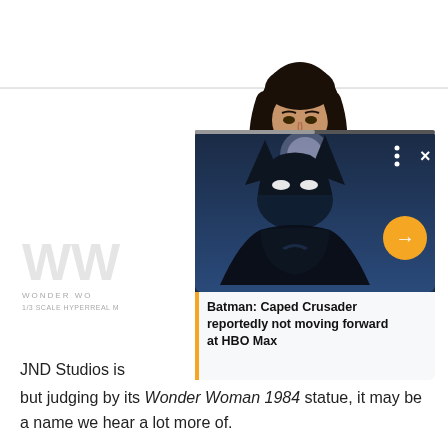[Figure (screenshot): Screenshot of a webpage showing a photo of a Wonder Woman 1984 statue (Gal Gadot likeness) in the background, with a news card overlay featuring Batman animated artwork and the headline 'Batman: Caped Crusader reportedly not moving forward at HBO Max'. The card has a yellow arrow button and X/dots controls.]
JND Studios is
but judging by its Wonder Woman 1984 statue, it may be a name we hear a lot more of.